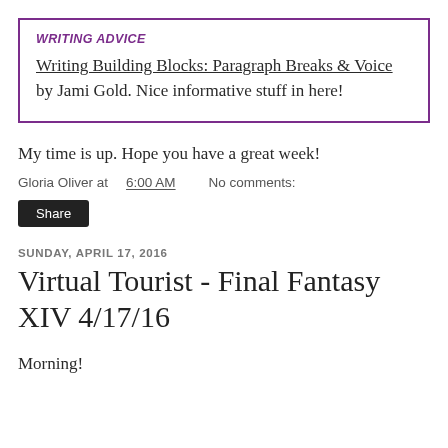WRITING ADVICE
Writing Building Blocks: Paragraph Breaks & Voice by Jami Gold. Nice informative stuff in here!
My time is up. Hope you have a great week!
Gloria Oliver at 6:00 AM    No comments:
Share
SUNDAY, APRIL 17, 2016
Virtual Tourist - Final Fantasy XIV 4/17/16
Morning!